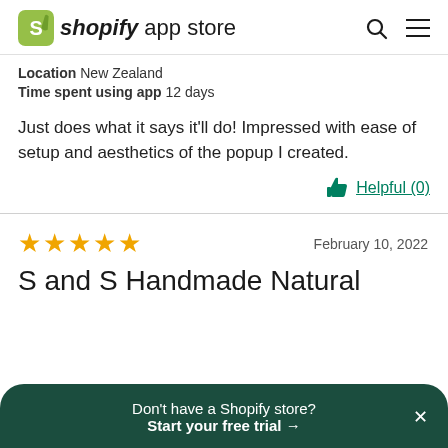shopify app store
Location  New Zealand
Time spent using app  12 days
Just does what it says it'll do! Impressed with ease of setup and aesthetics of the popup I created.
Helpful (0)
★★★★★  February 10, 2022
S and S Handmade Natural
Don't have a Shopify store? Start your free trial →